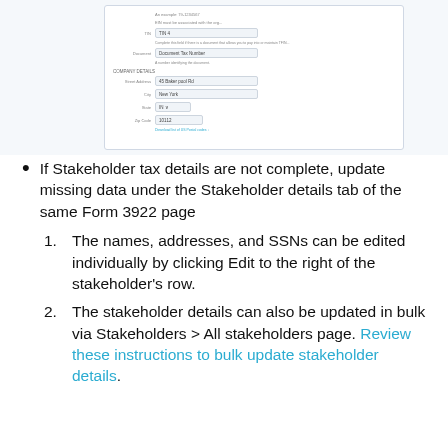[Figure (screenshot): A screenshot of a form with fields including TIN, Document Type, Street Address, City, State, and Zip code, with a Stakeholder Details section.]
If Stakeholder tax details are not complete, update missing data under the Stakeholder details tab of the same Form 3922 page
1. The names, addresses, and SSNs can be edited individually by clicking Edit to the right of the stakeholder's row.
2. The stakeholder details can also be updated in bulk via Stakeholders > All stakeholders page. Review these instructions to bulk update stakeholder details.